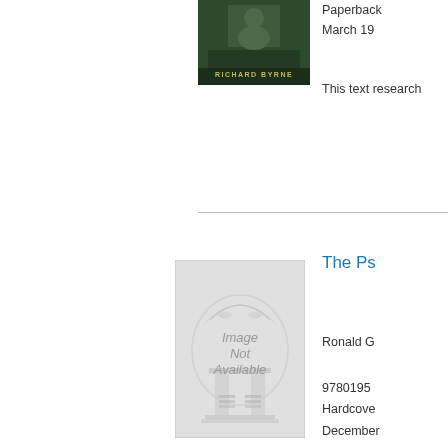[Figure (photo): Book cover with dark green background showing author name Richard Byrne]
Paperback
March 19
This text research
[Figure (photo): Image Not Available placeholder for book cover]
The Ps
Ronald G
9780195
Hardcover
December
Sort by Publication date: Newest-Oldest